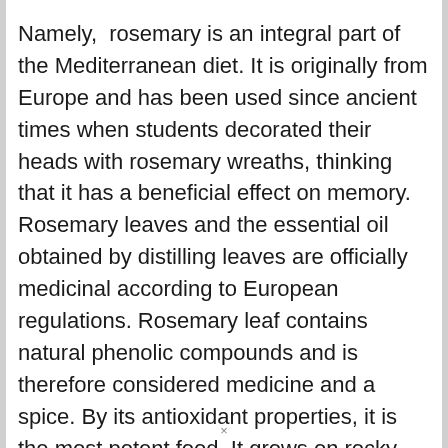Namely, rosemary is an integral part of the Mediterranean diet. It is originally from Europe and has been used since ancient times when students decorated their heads with rosemary wreaths, thinking that it has a beneficial effect on memory. Rosemary leaves and the essential oil obtained by distilling leaves are officially medicinal according to European regulations. Rosemary leaf contains natural phenolic compounds and is therefore considered medicine and a spice. By its antioxidant properties, it is the most potent food. It grows on rocky soil, withstands salt and high temperatures, and its habitat is carbonate rocks.